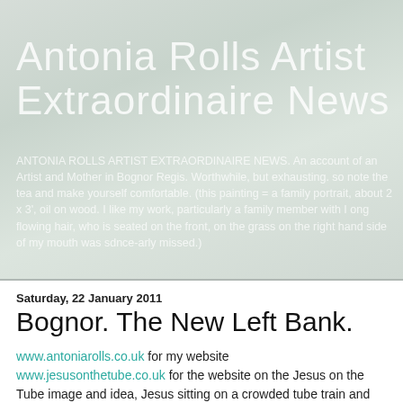[Figure (other): Header background image with watercolor/painted texture in light grey-green tones, used as backdrop for blog header]
Antonia Rolls Artist Extraordinaire News
ANTONIA ROLLS ARTIST EXTRAORDINAIRE NEWS. An account of an Artist and Mother in Bognor Regis. Worthwhile, but exhausting. so note the tea and make yourself comfortable. (this painting = a family portrait, about 2 x 3', oil on wood. I like my work, particularly a family member with I ong flowing hair, who is seated on the front, on the grass on the right hand side of my mouth was sdnce-arly missed.)
Saturday, 22 January 2011
Bognor. The New Left Bank.
www.antoniarolls.co.uk for my website
www.jesusonthetube.co.uk for the website on the Jesus on the Tube image and idea, Jesus sitting on a crowded tube train and being ignored.